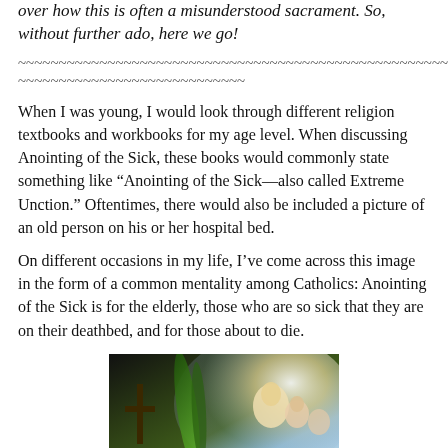over how this is often a misunderstood sacrament. So, without further ado, here we go!
~~~~~~~~~~~~~~~~~~~~~~~~~~~~~~~~~~~~~~~~~~~~~~~~~~~~~~~~~~~~~~~~~~~~~~~~~~~~~~~~~~~~~~~~~~~~~~~~~~~~~~~~~~~~~~~~
When I was young, I would look through different religion textbooks and workbooks for my age level. When discussing Anointing of the Sick, these books would commonly state something like “Anointing of the Sick—also called Extreme Unction.” Oftentimes, there would also be included a picture of an old person on his or her hospital bed.
On different occasions in my life, I’ve come across this image in the form of a common mentality among Catholics: Anointing of the Sick is for the elderly, those who are so sick that they are on their deathbed, and for those about to die.
[Figure (illustration): Religious illustration showing a dark scene with a cross on the left, green palm/leaf in the center-left, and angelic figures with a glowing background on the right side.]